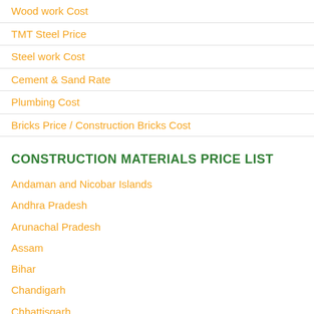Wood work Cost
TMT Steel Price
Steel work Cost
Cement & Sand Rate
Plumbing Cost
Bricks Price / Construction Bricks Cost
CONSTRUCTION MATERIALS PRICE LIST
Andaman and Nicobar Islands
Andhra Pradesh
Arunachal Pradesh
Assam
Bihar
Chandigarh
Chhattisgarh
Dadra and Nagar Haveli
Daman and Diu
Delhi